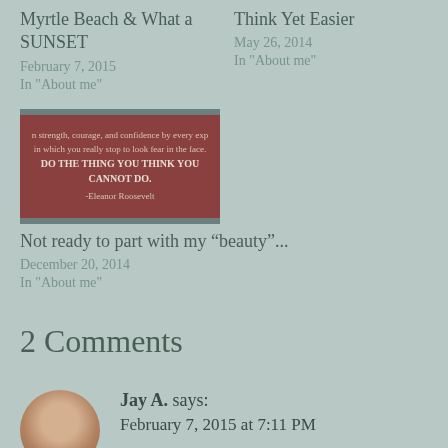Myrtle Beach & What a SUNSET
February 7, 2015
In "About me"
Think Yet Easier
May 26, 2014
In "About me"
[Figure (photo): A motivational quote image with dark red/brown background with decorative stripes, containing text: 'strength, courage, and confidence by every exp in which you really stop to look fear in the face. DO THE THING YOU THINK YOU CANNOT DO. -Eleanor Roosevelt']
Not ready to part with my “beauty”...
December 20, 2014
In "About me"
2 Comments
Jay A. says:
February 7, 2015 at 7:11 PM